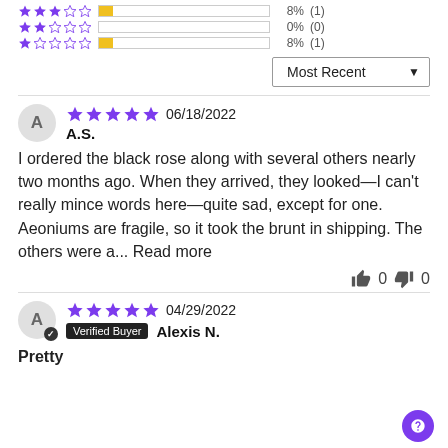[Figure (infographic): Star rating row: 3 stars filled, 2 empty, yellow bar ~8% filled, 8% (1)]
[Figure (infographic): Star rating row: 2 stars filled, 3 empty, empty bar 0%, 0% (0)]
[Figure (infographic): Star rating row: 1 star filled, 4 empty, yellow bar ~8% filled, 8% (1)]
Most Recent ▼
A  ★★★★★ 06/18/2022  A.S.
I ordered the black rose along with several others nearly two months ago. When they arrived, they looked—I can't really mince words here—quite sad, except for one. Aeoniums are fragile, so it took the brunt in shipping. The others were a... Read more
👍 0  👎 0
A  ★★★★★ 04/29/2022  Verified Buyer  Alexis N.
Pretty